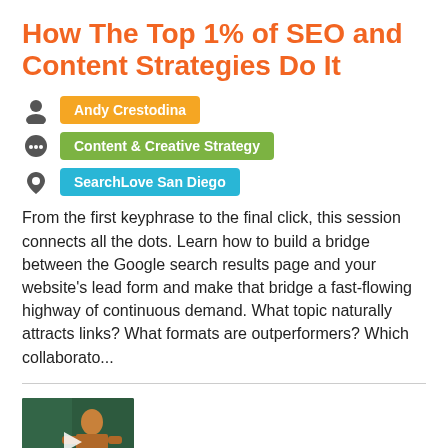How The Top 1% of SEO and Content Strategies Do It
Andy Crestodina
Content & Creative Strategy
SearchLove San Diego
From the first keyphrase to the final click, this session connects all the dots. Learn how to build a bridge between the Google search results page and your website's lead form and make that bridge a fast-flowing highway of continuous demand. What topic naturally attracts links? What formats are outperformers? Which collaborato...
[Figure (photo): Video thumbnail showing a woman presenter against a dark green/teal background with searchlove logo text overlay and play button icon]
Maximize Your Use of Google Analytics